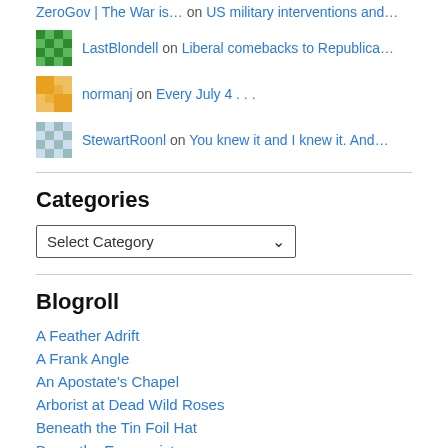ZeroGov | The War is… on US military interventions and…
LastBlondell on Liberal comebacks to Republica…
normanj on Every July 4 . . .
StewartRoonl on You knew it and I knew it. And…
Categories
Select Category
Blogroll
A Feather Adrift
A Frank Angle
An Apostate's Chapel
Arborist at Dead Wild Roses
Beneath the Tin Foil Hat
Bruce the Economist
desertscope